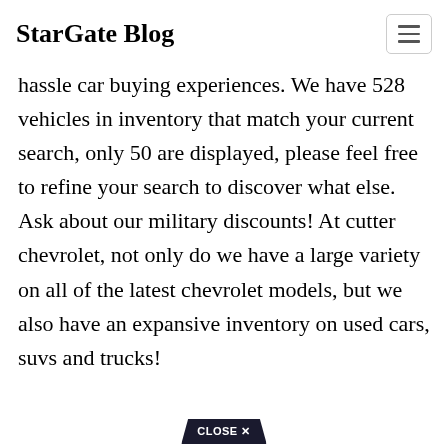Stargate Blog
hassle car buying experiences. We have 528 vehicles in inventory that match your current search, only 50 are displayed, please feel free to refine your search to discover what else. Ask about our military discounts! At cutter chevrolet, not only do we have a large variety on all of the latest chevrolet models, but we also have an expansive inventory on used cars, suvs and trucks!